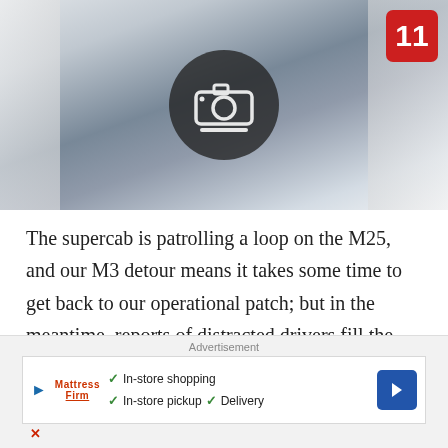[Figure (photo): A man sitting in the cab of a white vehicle holding a video camera up to his face, filming through the window. A dark circle with a camera icon overlay is on the image. A red badge with the number 11 is in the top right corner.]
The supercab is patrolling a loop on the M25, and our M3 detour means it takes some time to get back to our operational patch; but in the meantime, reports of distracted drivers fill the airwaves.
Advertisement
[Figure (other): Advertisement banner for Mattress Firm. Shows checkmarks for In-store shopping, In-store pickup, Delivery, and an X mark. Blue navigation arrow icon on right.]